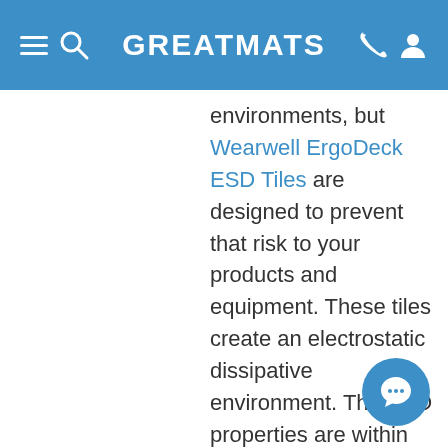GREATMATS
environments, but Wearwell ErgoDeck ESD Tiles are designed to prevent that risk to your products and equipment. These tiles create an electrostatic dissipative environment. The ESD properties are within the entire tile, so no snaps or grounding needed. Just install tile over a conductive sub-flooring to protect